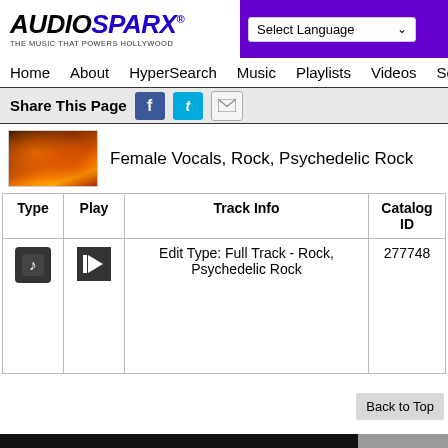[Figure (logo): AudioSparx logo with tagline THE MUSIC THAT POWERS HOLLYWOOD]
[Figure (screenshot): Select Language dropdown on purple background]
Home  About  HyperSearch  Music  Playlists  Videos  Sound
Share This Page
Female Vocals, Rock, Psychedelic Rock
| Type | Play | Track Info | Catalog ID |
| --- | --- | --- | --- |
| [music icon] | [play icon] | Edit Type: Full Track - Rock, Psychedelic Rock | 277748 |
Back to Top